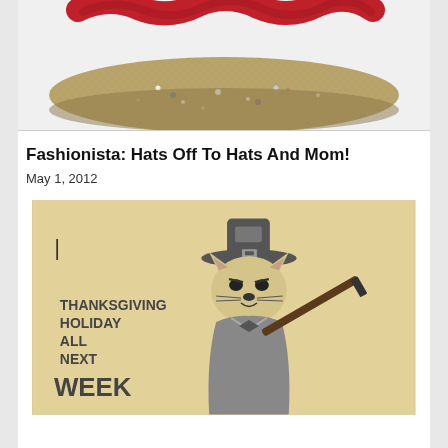[Figure (photo): Close-up photo of a decorative hat or cushion with red fabric/yarn on top and a gold/speckled rim, on a white background]
Fashionista: Hats Off To Hats And Mom!
May 1, 2012
[Figure (illustration): Vintage hand-drawn illustration on aged paper showing an anthropomorphic cat character wearing a pilgrim hat and holding a musket, with text reading 'THANKSGIVING HOLIDAY ALL NEXT WEEK' and the number '1' in the upper left]